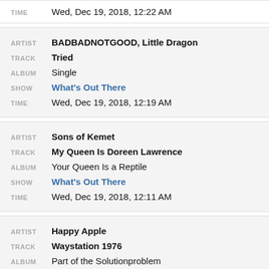TIME: Wed, Dec 19, 2018, 12:22 AM
ARTIST: BADBADNOTGOOD, Little Dragon | TRACK: Tried | ALBUM: Single | SHOW: What's Out There | TIME: Wed, Dec 19, 2018, 12:19 AM
ARTIST: Sons of Kemet | TRACK: My Queen Is Doreen Lawrence | ALBUM: Your Queen Is a Reptile | SHOW: What's Out There | TIME: Wed, Dec 19, 2018, 12:11 AM
ARTIST: Happy Apple | TRACK: Waystation 1976 | ALBUM: Part of the Solutionproblem